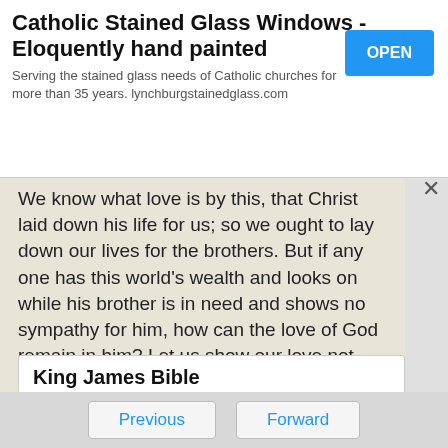[Figure (other): Advertisement banner for Catholic Stained Glass Windows - Eloquently hand painted. Serving the stained glass needs of Catholic churches for more than 35 years. lynchburgstainedglass.com. With an OPEN button.]
We know what love is by this, that Christ laid down his life for us; so we ought to lay down our lives for the brothers. But if any one has this world's wealth and looks on while his brother is in need and shows no sympathy for him, how can the love of God remain in him? Let us show our love not with words nor with our lips only, but by deeds and sincerity. God's Love.
King James Bible
The Books of The King James Bible include the 39 books of the Old Testament. an
Previous   Forward